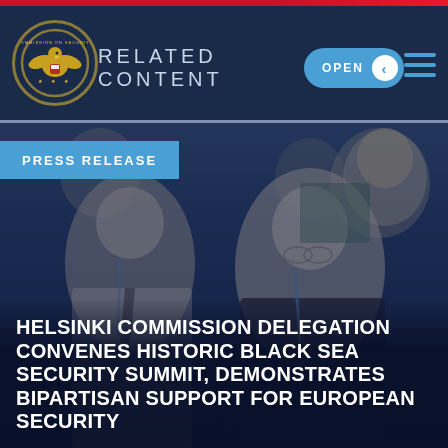RELATED CONTENT
[Figure (photo): Conference room photo showing delegates seated at a panel discussion, with two men in the foreground — one older man in a dark suit speaking, another in a light shirt beside him. Additional attendees visible in background.]
PRESS RELEASE
HELSINKI COMMISSION DELEGATION CONVENES HISTORIC BLACK SEA SECURITY SUMMIT, DEMONSTRATES BIPARTISAN SUPPORT FOR EUROPEAN SECURITY